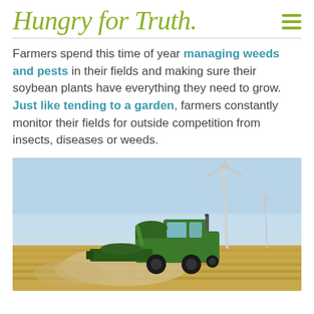Hungry for Truth
Farmers spend this time of year managing weeds and pests in their fields and making sure their soybean plants have everything they need to grow. Just like tending to a garden, farmers constantly monitor their fields for outside competition from insects, diseases or weeds.
[Figure (photo): A green John Deere combine harvester working in a golden soybean field, kicking up dust, with a large wind turbine in the background under a blue sky.]